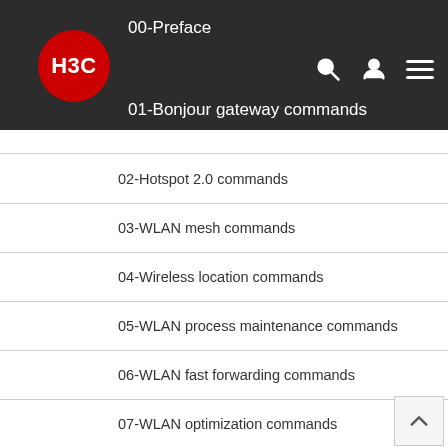H3C | 00-Preface | 01-Bonjour gateway commands
02-Hotspot 2.0 commands
03-WLAN mesh commands
04-Wireless location commands
05-WLAN process maintenance commands
06-WLAN fast forwarding commands
07-WLAN optimization commands
08-AC hierarchy commands
09-WSA commands
10-WLAN probe commands